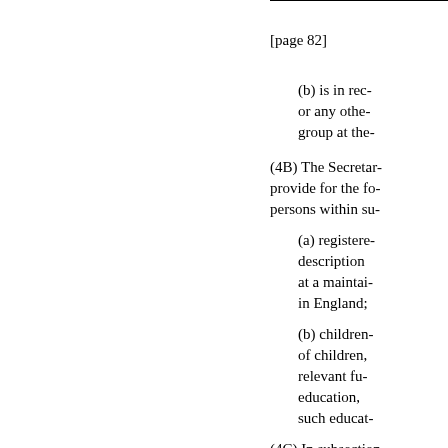[page 82]
(b) is in rec- or any othe- group at the-
(4B) The Secretar- provide for the fo- persons within su-
(a) registere- description- at a maintai- in England;
(b) children- of children,- relevant fu- education,- such educat-
(4C) In subsection-
"maintained-